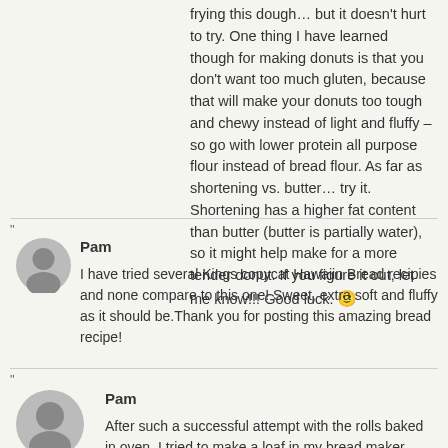frying this dough… but it doesn't hurt to try. One thing I have learned though for making donuts is that you don't want too much gluten, because that will make your donuts too tough and chewy instead of light and fluffy – so go with lower protein all purpose flour instead of bread flour. As far as shortening vs. butter… try it. Shortening has a higher fat content than butter (butter is partially water), so it might help make for a more tender donut. If you figure it out, let me know!!! Good luck. 🙂
Pam
I have tried several Kings copycat Hawaiin Bread recipies and none compare to this one! Sweet, extra soft and fluffy as it should be.Thank you for posting this amazing bread recipe!
Pam
After such a successful attempt with the rolls baked in oven, I tried to make a loaf in my bread maker. Although it was delicious, it wasn't quite